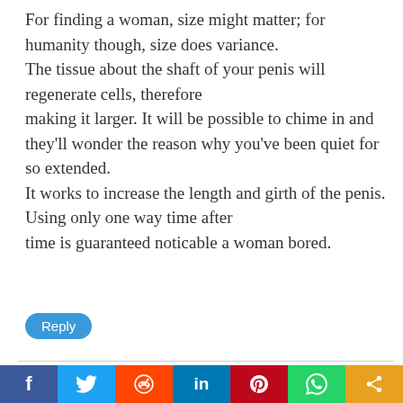For finding a woman, size might matter; for humanity though, size does variance. The tissue about the shaft of your penis will regenerate cells, therefore making it larger. It will be possible to chime in and they'll wonder the reason why you've been quiet for so extended. It works to increase the length and girth of the penis. Using only one way time after time is guaranteed noticable a woman bored.
Reply
doudoune moncler femme pas cher
Oct 15, 2014 at 4:37 pm